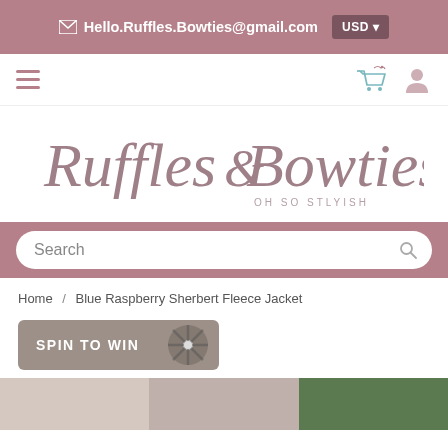✉ Hello.Ruffles.Bowties@gmail.com  USD ▼
[Figure (logo): Ruffles & Bowties OH SO STLYISH script logo in dusty rose]
Search
Home / Blue Raspberry Sherbert Fleece Jacket
SPIN TO WIN
[Figure (photo): Partial product images at bottom of page]